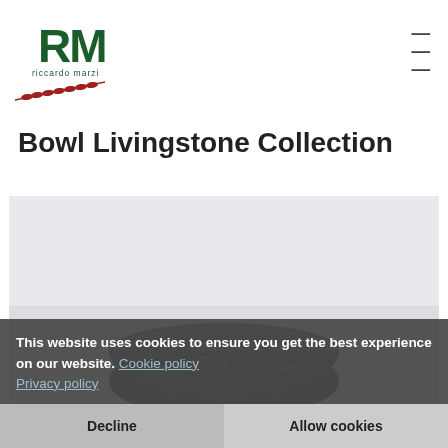[Figure (logo): RM Riccardo Marzi logo with red leaf/branch graphic below the letters]
Bowl Livingstone Collection
[Figure (photo): Photo of a dark stone/ceramic bowl with mottled texture on a light grey background]
This website uses cookies to ensure you get the best experience on our website. Cookie policy Privacy policy
Decline
Allow cookies